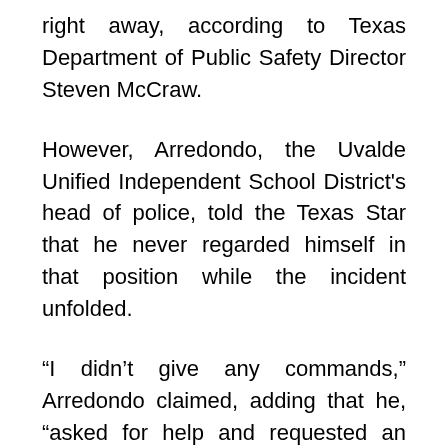right away, according to Texas Department of Public Safety Director Steven McCraw.
However, Arredondo, the Uvalde Unified Independent School District's head of police, told the Texas Star that he never regarded himself in that position while the incident unfolded.
“I didn’t give any commands,” Arredondo claimed, adding that he, “asked for help and requested an extraction device to open a door” to the class where Ramos was.
According to the New York Times, the team of